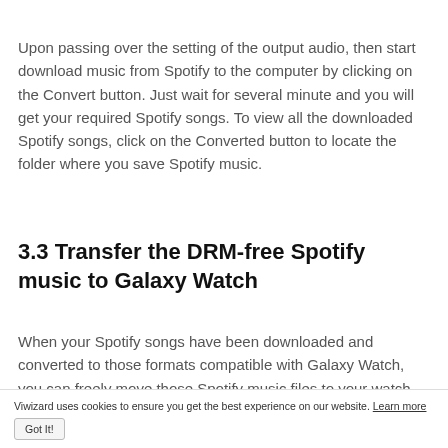Upon passing over the setting of the output audio, then start download music from Spotify to the computer by clicking on the Convert button. Just wait for several minute and you will get your required Spotify songs. To view all the downloaded Spotify songs, click on the Converted button to locate the folder where you save Spotify music.
3.3 Transfer the DRM-free Spotify music to Galaxy Watch
When your Spotify songs have been downloaded and converted to those formats compatible with Galaxy Watch, you can freely move those Spotify music files to your watch and then play them offline. Check out the following
Viwizard uses cookies to ensure you get the best experience on our website. Learn more Got It!